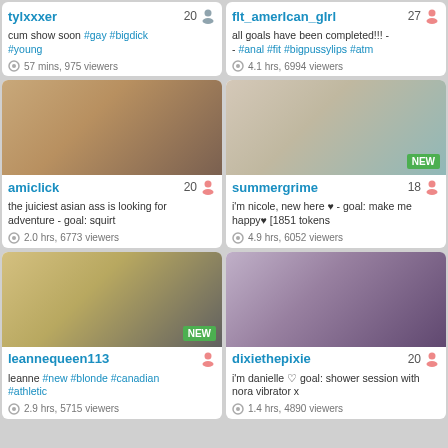tylxxxer 20 - cum show soon #gay #bigdick #young - 57 mins, 975 viewers
flt_amerIcan_gIrl 27 - all goals have been completed!!! - - #anal #fit #bigpussylips #atm - 4.1 hrs, 6994 viewers
[Figure (photo): Webcam thumbnail of amiclick]
amiclick 20 - the juiciest asian ass is looking for adventure - goal: squirt - 2.0 hrs, 6773 viewers
[Figure (photo): Webcam thumbnail of summergrime NEW badge]
summergrime 18 - i'm nicole, new here ♥ - goal: make me happy♥ [1851 tokens - 4.9 hrs, 6052 viewers
[Figure (photo): Webcam thumbnail of leannequeen113 NEW badge]
leannequeen113 - leanne #new #blonde #canadian #athletic - 2.9 hrs, 5715 viewers
[Figure (photo): Webcam thumbnail of dixiethepixie]
dixiethepixie 20 - i'm danielle ♡ goal: shower session with nora vibrator x - 1.4 hrs, 4890 viewers